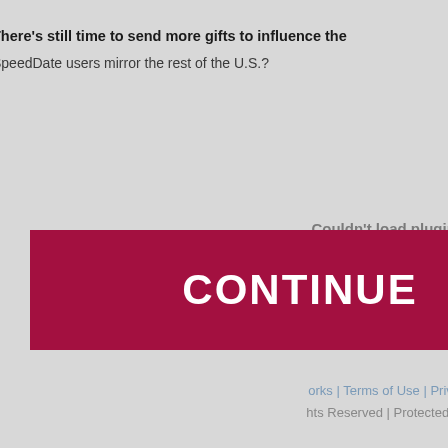There's still time to send more gifts to influence the SpeedDate users mirror the rest of the U.S.?
Couldn't load plugin.
Posted in Uncategorized | No Comments »
[Figure (other): Red CONTINUE button]
orks | Terms of Use | Priva Rights Reserved | Protected b